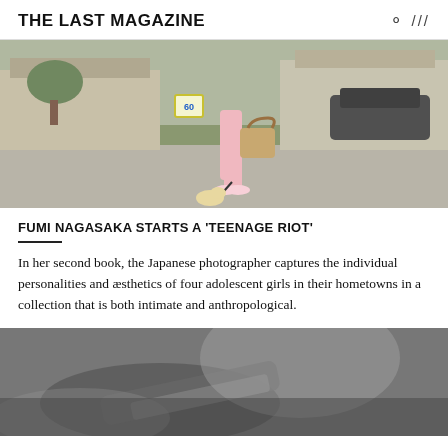THE LAST MAGAZINE
[Figure (photo): A woman in a pink tracksuit walking a small light-colored dog on a leash on a suburban sidewalk, carrying a large monogram handbag. Suburban houses and parked cars visible in the background.]
FUMI NAGASAKA STARTS A 'TEENAGE RIOT'
In her second book, the Japanese photographer captures the individual personalities and æsthetics of four adolescent girls in their hometowns in a collection that is both intimate and anthropological.
[Figure (photo): A close-up black and white photograph showing what appears to be hands or objects in soft focus.]